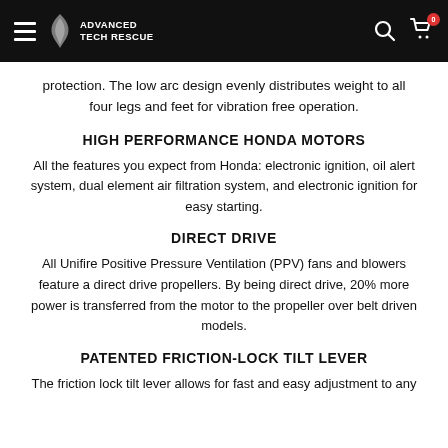Advanced Tech Rescue
protection. The low arc design evenly distributes weight to all four legs and feet for vibration free operation.
HIGH PERFORMANCE HONDA MOTORS
All the features you expect from Honda: electronic ignition, oil alert system, dual element air filtration system, and electronic ignition for easy starting.
DIRECT DRIVE
All Unifire Positive Pressure Ventilation (PPV) fans and blowers feature a direct drive propellers. By being direct drive, 20% more power is transferred from the motor to the propeller over belt driven models.
PATENTED FRICTION-LOCK TILT LEVER
The friction lock tilt lever allows for fast and easy adjustment to any